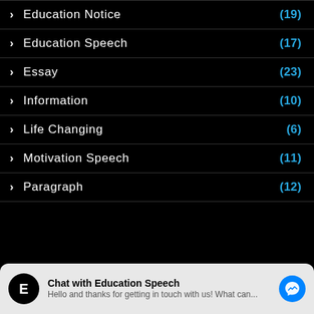Education Notice (19)
Education Speech (17)
Essay (23)
Information (10)
Life Changing (6)
Motivation Speech (11)
Paragraph (12)
Chat with Education Speech
Hello and thanks for getting in touch with us! What can...